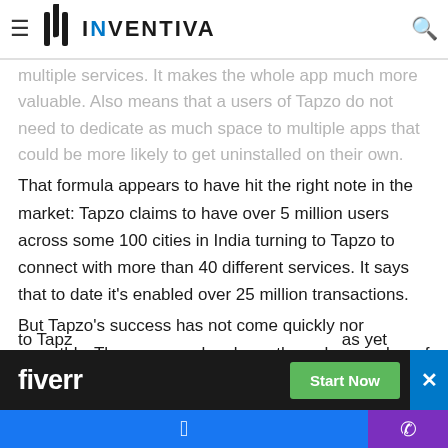INVENTIVA
multiple services. It makes the whole app much more valuable. Also means that a users of Tapzo do not need to dedicate as much space to multiple apps that could be more likely to get uninstalled on their own.
That formula appears to have hit the right note in the market: Tapzo claims to have over 5 million users across some 100 cities in India turning to Tapzo to connect with more than 40 different services. It says that to date it's enabled over 25 million transactions.
But Tapzo's success has not come quickly nor smoothly. The company has been through a number of pivots and rebrands since 2010, starting first as Akosha, a platform for businesses to communicate with customers; then becoming Helpchat, a personal assistant and chatbot; and lastly its most recent pi... to Tapzo... as yet
[Figure (other): Fiverr advertisement banner with 'Start Now' button and close button]